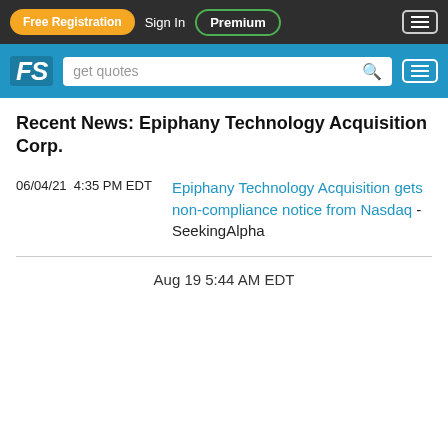Free Registration  Sign In  Premium
FS  get quotes
Recent News: Epiphany Technology Acquisition Corp.
06/04/21  4:35 PM EDT  Epiphany Technology Acquisition gets non-compliance notice from Nasdaq - SeekingAlpha
Aug 19 5:44 AM EDT